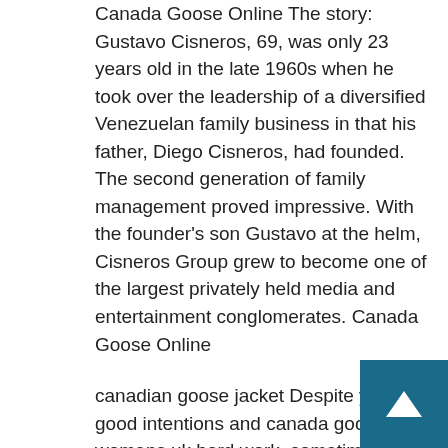Canada Goose Online The story: Gustavo Cisneros, 69, was only 23 years old in the late 1960s when he took over the leadership of a diversified Venezuelan family business in that his father, Diego Cisneros, had founded. The second generation of family management proved impressive. With the founder's son Gustavo at the helm, Cisneros Group grew to become one of the largest privately held media and entertainment conglomerates. Canada Goose Online
canadian goose jacket Despite your good intentions and canada goose womens uk hard work, sometimes you will fail. Some successful entrepreneurs suffered setbacks and resounding defeats, even bankruptcy, yet canada goose outlet store calgary managed to quickly stand up to make it big in their fields. Your courage to persist in the face of adversity and ability to bounce back after a temporary disappointment will assure you success. canadian goose jacket